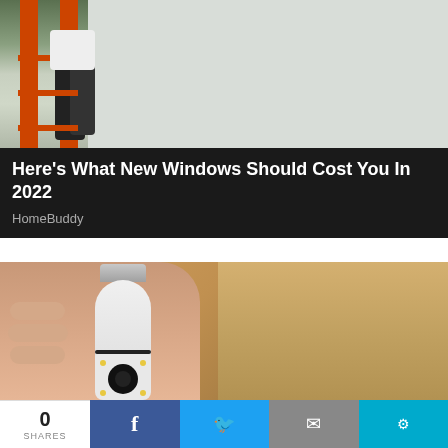[Figure (photo): Photo of a person on a red ladder against a house exterior wall]
Here's What New Windows Should Cost You In 2022
HomeBuddy
[Figure (photo): Hand holding a white light bulb-shaped security camera with a lens and LED ring at the bottom]
0 SHARES | Facebook share | Twitter share | Email share | More share